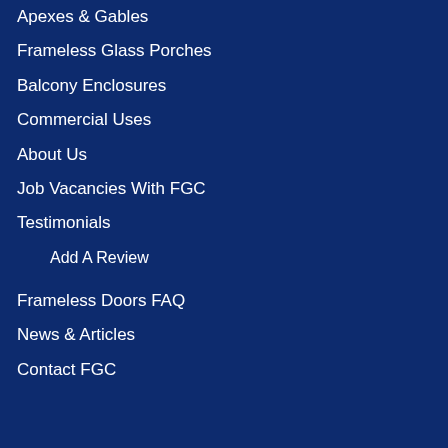Apexes & Gables
Frameless Glass Porches
Balcony Enclosures
Commercial Uses
About Us
Job Vacancies With FGC
Testimonials
Add A Review
Frameless Doors FAQ
News & Articles
Contact FGC